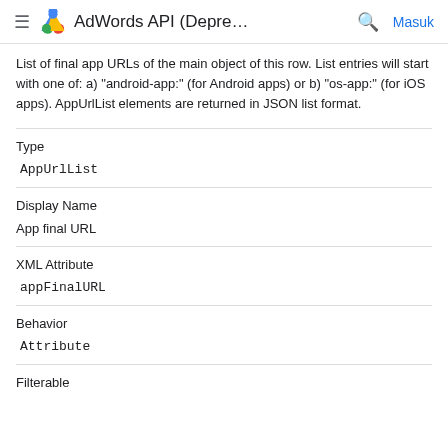AdWords API (Depre…  Masuk
List of final app URLs of the main object of this row. List entries will start with one of: a) "android-app:" (for Android apps) or b) "os-app:" (for iOS apps). AppUrlList elements are returned in JSON list format.
Type
AppUrlList
Display Name
App final URL
XML Attribute
appFinalURL
Behavior
Attribute
Filterable